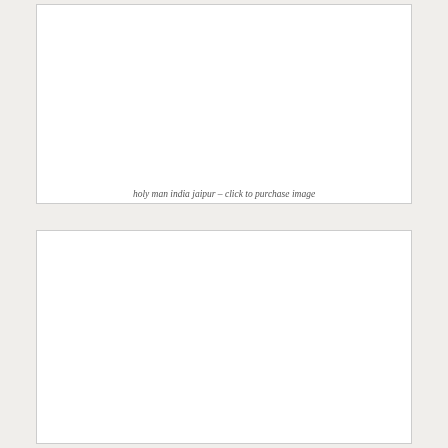[Figure (photo): White rectangular image placeholder box at top of page]
holy man india jaipur – click to purchase image
[Figure (photo): White rectangular image placeholder box at bottom of page with a scroll-to-top button in the lower right corner]